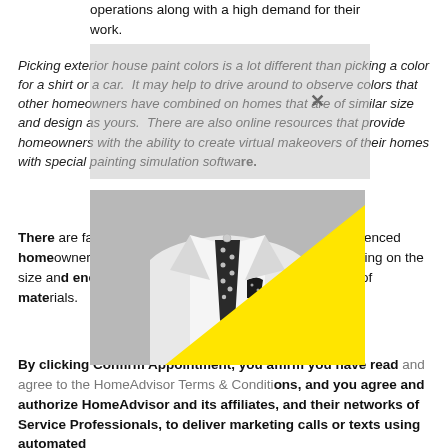operations along with a high demand for their work.
Picking exterior house paint colors is a lot different than picking a color for a shirt or a car. It may help to drive around to observe colors that other homeowners have combined on homes that are of similar size and design as yours. There are also online resources that provide homeowners with the ability to create virtual makeovers of their homes with special painting simulation software.
[Figure (photo): Black and white photo of a man in a suit with polka dot tie and pocket square, with a large yellow triangle overlay in the bottom-right area of the image. A gray semi-transparent modal box overlays the top of the image with an X close button.]
There are factors that can make a toll on the most experienced homeowner or painter. The total cost may vary depending on the size and energy of the house, yourself, and your choice of materials.
By clicking Confirm Appointment, you affirm you have read and agree to the HomeAdvisor Terms & Conditions, and you agree and authorize HomeAdvisor and its affiliates, and their networks of Service Professionals, to deliver marketing calls or texts using automated